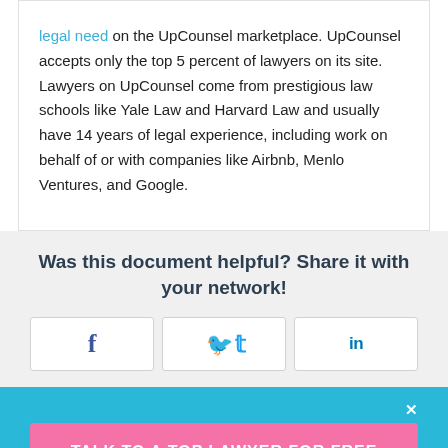legal need on the UpCounsel marketplace. UpCounsel accepts only the top 5 percent of lawyers on its site. Lawyers on UpCounsel come from prestigious law schools like Yale Law and Harvard Law and usually have 14 years of legal experience, including work on behalf of or with companies like Airbnb, Menlo Ventures, and Google.
Was this document helpful? Share it with your network!
[Figure (other): Social sharing buttons: Facebook (f), Twitter (bird icon), LinkedIn (in)]
TALK TO A TOP LAWYER FOR FREE